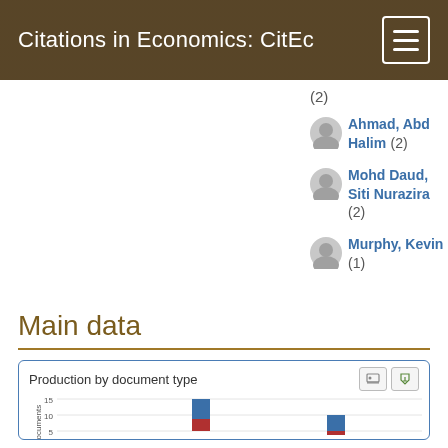Citations in Economics: CitEc
(2)
Ahmad, Abd Halim (2)
Mohd Daud, Siti Nurazira (2)
Murphy, Kevin (1)
Main data
[Figure (bar-chart): Production by document type]